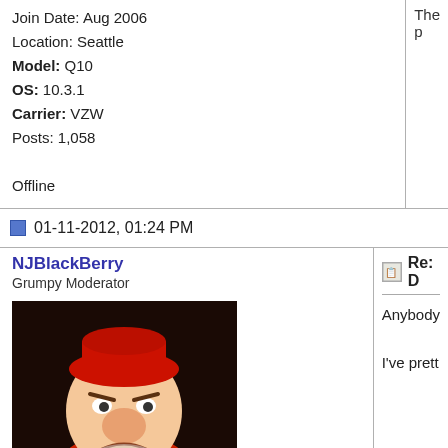Join Date: Aug 2006
Location: Seattle
Model: Q10
OS: 10.3.1
Carrier: VZW
Posts: 1,058

Offline
The p...
01-11-2012, 01:24 PM
NJBlackBerry
Grumpy Moderator
[Figure (photo): Avatar image of Grumpy dwarf cartoon character in red outfit with arms crossed and grumpy expression]
Join Date: Aug 2004
Location: Somewhere in the swamps of Jersey
Re: D...
Anybody...
I've prett...